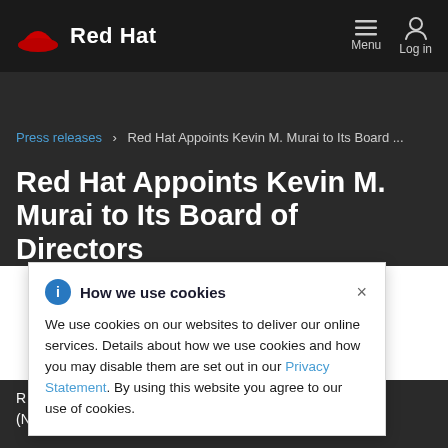Red Hat — Menu | Log in
Press releases > Red Hat Appoints Kevin M. Murai to Its Board ...
Red Hat Appoints Kevin M. Murai to Its Board of Directors
How we use cookies
We use cookies on our websites to deliver our online services. Details about how we use cookies and how you may disable them are set out in our Privacy Statement. By using this website you agree to our use of cookies.
R... Hat, Inc. (NYSE: RHT), the world's leading provider of open source